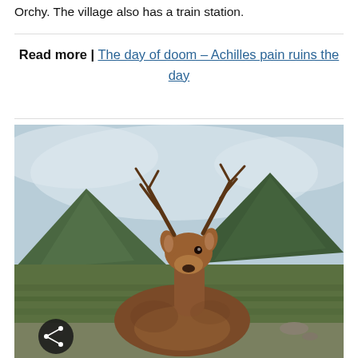Orchy. The village also has a train station.
Read more | The day of doom – Achilles pain ruins the day
[Figure (photo): A red deer stag sitting on the road in front of a green highland mountain landscape with a cloudy sky background. A share button (circular dark icon with share symbol) is visible in the lower left corner of the image.]